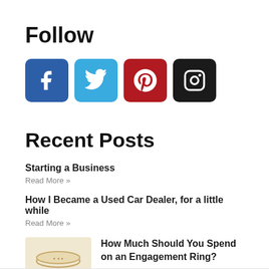Follow
[Figure (infographic): Four social media icon buttons in a row: Facebook (dark blue), Twitter (light blue), Pinterest (dark red), Instagram (black), each with rounded corners and white icons.]
Recent Posts
Starting a Business
Read More »
How I Became a Used Car Dealer, for a little while
Read More »
How Much Should You Spend on an Engagement Ring?
Read More »